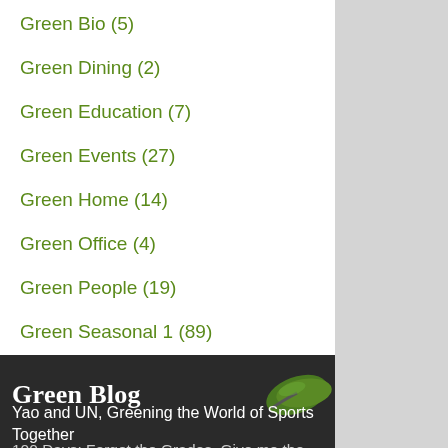Green Bio (5)
Green Dining (2)
Green Education (7)
Green Events (27)
Green Home (14)
Green Office (4)
Green People (19)
Green Seasonal 1 (89)
Green Shopping (15)
Green Social (3)
Green Style (4)
Green Tech (5)
Green Blog
Yao and UN, Greening the World of Sports Together
100 Days: Forget the Grades, Give me the